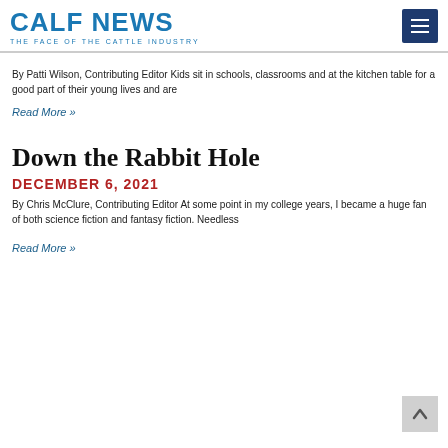CALF NEWS — THE FACE OF THE CATTLE INDUSTRY
By Patti Wilson, Contributing Editor Kids sit in schools, classrooms and at the kitchen table for a good part of their young lives and are
Read More »
Down the Rabbit Hole
DECEMBER 6, 2021
By Chris McClure, Contributing Editor At some point in my college years, I became a huge fan of both science fiction and fantasy fiction. Needless
Read More »